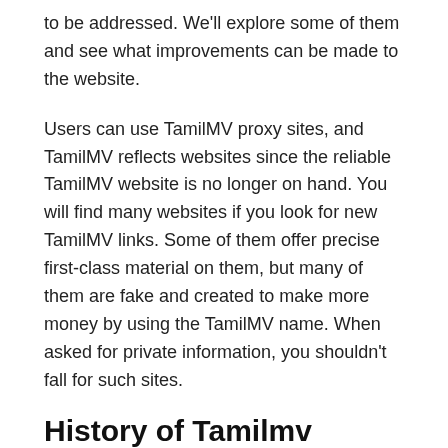to be addressed. We'll explore some of them and see what improvements can be made to the website.
Users can use TamilMV proxy sites, and TamilMV reflects websites since the reliable TamilMV website is no longer on hand. You will find many websites if you look for new TamilMV links. Some of them offer precise first-class material on them, but many of them are fake and created to make more money by using the TamilMV name. When asked for private information, you shouldn't fall for such sites.
History of Tamilmv Website
Tamilmv.com is a popular website where people can watch and download Tamil movies. However, the site is quite old and is not optimized for new mobile device users.